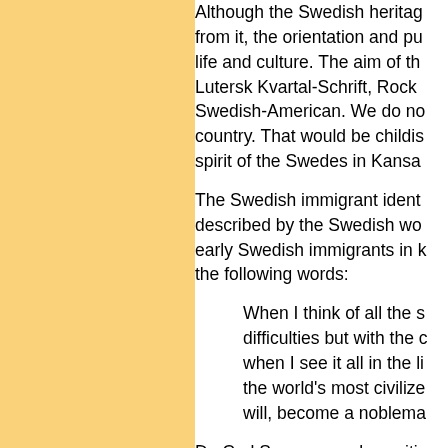Although the Swedish heritage from it, the orientation and pu life and culture. The aim of th Lutersk Kvartal-Schrift, Rock Swedish-American. We do no country. That would be childis spirit of the Swedes in Kansa
The Swedish immigrant ident described by the Swedish wo early Swedish immigrants in k the following words:
When I think of all the s difficulties but with the d when I see it all in the li the world's most civilize will, become a noblema
Dr. Carl Swensson, also writin settlement in Kansas. He four
The sod-house yields to already started to bear proprietor in the largest the family grows up, the will become a large and
For the vast majority of Swed